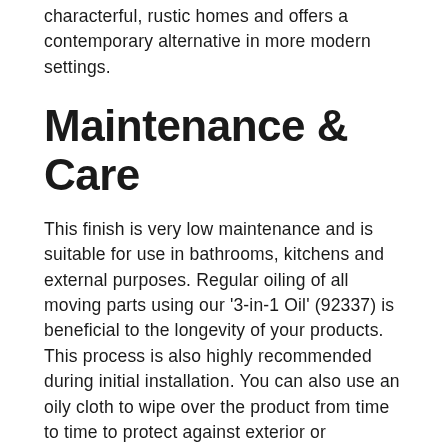characterful, rustic homes and offers a contemporary alternative in more modern settings.
Maintenance & Care
This finish is very low maintenance and is suitable for use in bathrooms, kitchens and external purposes. Regular oiling of all moving parts using our '3-in-1 Oil' (92337) is beneficial to the longevity of your products. This process is also highly recommended during initial installation. You can also use an oily cloth to wipe over the product from time to time to protect against exterior or environmental elements.